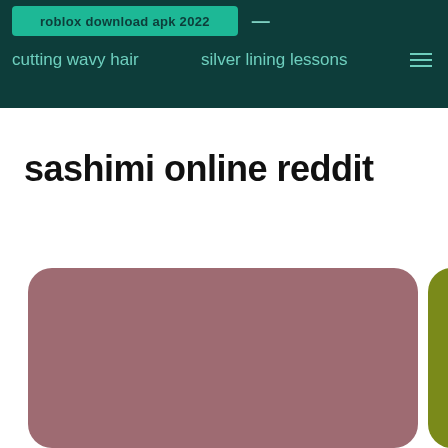roblox download apk 2022 | cutting wavy hair | silver lining lessons
sashimi online reddit
[Figure (other): Two rounded rectangle cards side by side: a large mauve/dusty rose card on the left and a smaller olive/yellow-green card partially visible on the right]